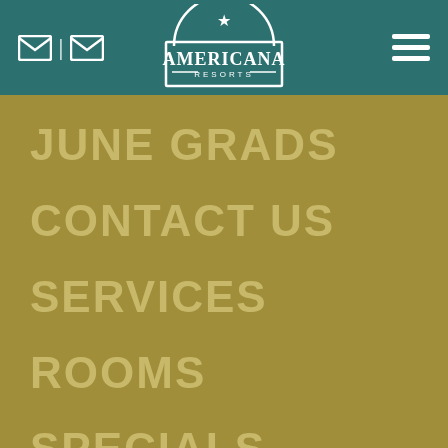[Figure (logo): Americana Resorts logo with star badge on teal header background, with email icons on left and hamburger menu on right]
JUNE GRADS
CONTACT US
SERVICES
ROOMS
SPECIALS